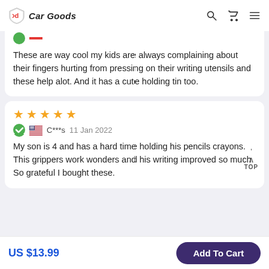Car Goods
These are way cool my kids are always complaining about their fingers hurting from pressing on their writing utensils and these help alot. And it has a cute holding tin too.
★★★★★
C***s  11 Jan 2022
My son is 4 and has a hard time holding his pencils crayons. This grippers work wonders and his writing improved so much. So grateful I bought these.
US $13.99
Add To Cart